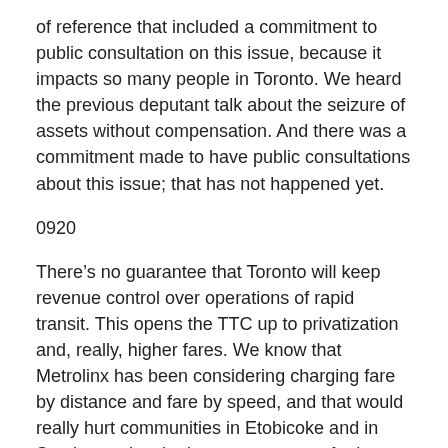of reference that included a commitment to public consultation on this issue, because it impacts so many people in Toronto. We heard the previous deputant talk about the seizure of assets without compensation. And there was a commitment made to have public consultations about this issue; that has not happened yet.
0920
There’s no guarantee that Toronto will keep revenue control over operations of rapid transit. This opens the TTC up to privatization and, really, higher fares. We know that Metrolinx has been considering charging fare by distance and fare by speed, and that would really hurt communities in Etobicoke and in Scarborough, who have to commute farther distances. This is why we need public consultation and why we’re deeply concerned that this bill means more delays and sends us backwards in our transit planning.
The best way to improve Toronto’s transit is to fund it. The